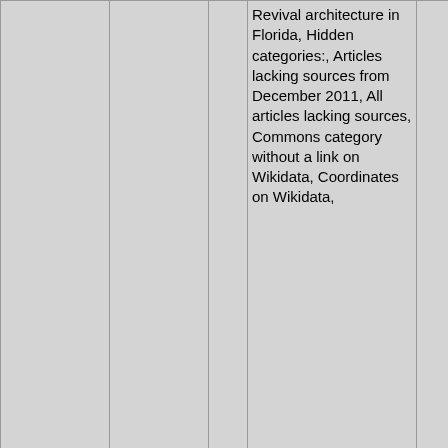| Controls | Name | Link | Categories | Image |
| --- | --- | --- | --- | --- |
|  |  |  | Revival architecture in Florida, Hidden categories:, Articles lacking sources from December 2011, All articles lacking sources, Commons category without a link on Wikidata, Coordinates on Wikidata, |  |
| 13: ↘ 2.2mi 🚁 ↗ 🚗 🌀 📊 🔍 🔗 | Saint Marys Cathedral School (Miami, Florida) | 🔗 | Roman Catholic Archdiocese of Miami, Educational institutions established in 1939, 1939 establishments in Florida, Hidden categories:, Articles lacking sources from |  |